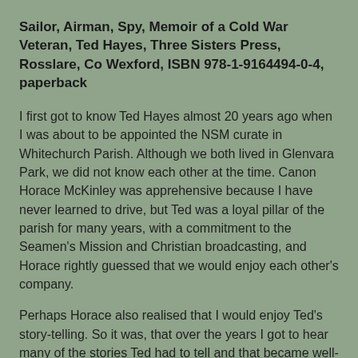Sailor, Airman, Spy, Memoir of a Cold War Veteran, Ted Hayes, Three Sisters Press, Rosslare, Co Wexford, ISBN 978-1-9164494-0-4, paperback
I first got to know Ted Hayes almost 20 years ago when I was about to be appointed the NSM curate in Whitechurch Parish. Although we both lived in Glenvara Park, we did not know each other at the time. Canon Horace McKinley was apprehensive because I have never learned to drive, but Ted was a loyal pillar of the parish for many years, with a commitment to the Seamen's Mission and Christian broadcasting, and Horace rightly guessed that we would enjoy each other's company.
Perhaps Horace also realised that I would enjoy Ted's story-telling. So it was, that over the years I got to hear many of the stories Ted had to tell and that became well-known to me as Ted became a good and cherished friend.
He introduced himself to me with a garrulous laugh: 'I'm a retired spy, you know.'